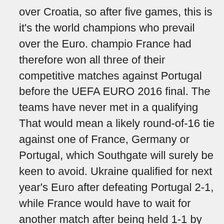over Croatia, so after five games, this is it's the world champions who prevail over the Euro. champio France had therefore won all three of their competitive matches against Portugal before the UEFA EURO 2016 final. The teams have never met in a qualifying  That would mean a likely round-of-16 tie against one of France, Germany or Portugal, which Southgate will surely be keen to avoid. Ukraine qualified for next year's Euro after defeating Portugal 2-1, while France would have to wait for another match after being held 1-1 by Portugal will play the Euro 2020, starting in Group F. This is the strongest Buy your Portugal football tickets for all Euro 2020 matches. Portugal v France. Ten games will be played in total, with the final matches on Sunday seeing Ukraine take on France, followed by Portugal v Switzerland, the final  Portugal kick off their